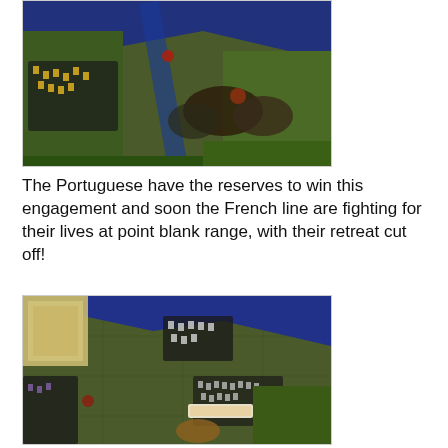[Figure (photo): Aerial view of miniature wargame board showing military figures (infantry and cavalry) engaged in battle near a blue river/road on a green terrain board. Napoleonic era figures visible with yellow highlights.]
The Portuguese have the reserves to win this engagement and soon the French line are fighting for their lives at point blank range, with their retreat cut off!
[Figure (photo): Aerial view of miniature wargame board showing military figures arranged on a hex-based green terrain board with a blue river. A tan/beige building structure visible in upper left. Small label marker visible in center.]